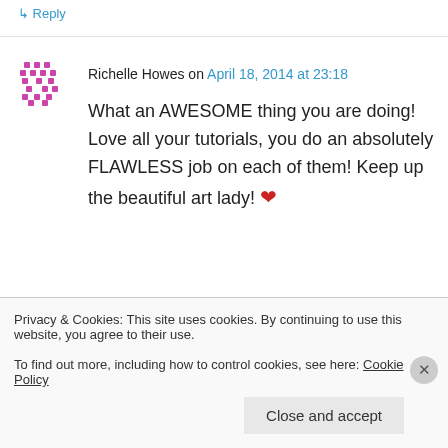↳ Reply
Richelle Howes on April 18, 2014 at 23:18
What an AWESOME thing you are doing! Love all your tutorials, you do an absolutely FLAWLESS job on each of them! Keep up the beautiful art lady! ❤
↳ Reply
Rebecca Dotchel on April 18, 2014 at 23:18
Privacy & Cookies: This site uses cookies. By continuing to use this website, you agree to their use.
To find out more, including how to control cookies, see here: Cookie Policy
Close and accept